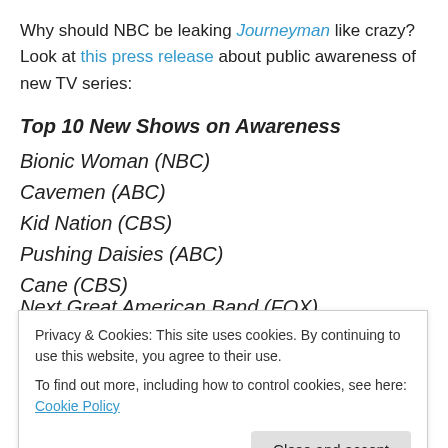Why should NBC be leaking Journeyman like crazy? Look at this press release about public awareness of new TV series:
Top 10 New Shows on Awareness
Bionic Woman (NBC)
Cavemen (ABC)
Kid Nation (CBS)
Pushing Daisies (ABC)
Cane (CBS)
Privacy & Cookies: This site uses cookies. By continuing to use this website, you agree to their use.
To find out more, including how to control cookies, see here: Cookie Policy
Gossip Girl (CW)**